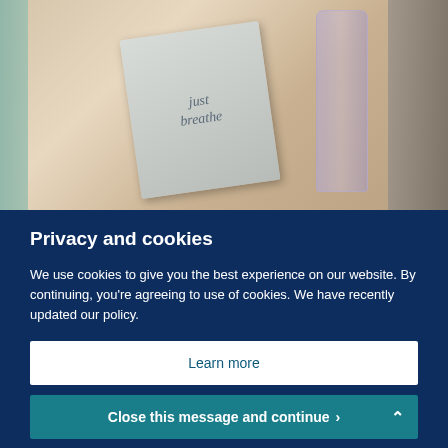[Figure (photo): Photo of a book with text 'just breathe' lying on a beige/cream blanket, with a glass or bottle visible on the right side. Left edge has a blurred teal/green strip.]
Privacy and cookies
We use cookies to give you the best experience on our website. By continuing, you're agreeing to use of cookies. We have recently updated our policy.
Learn more
Close this message and continue >